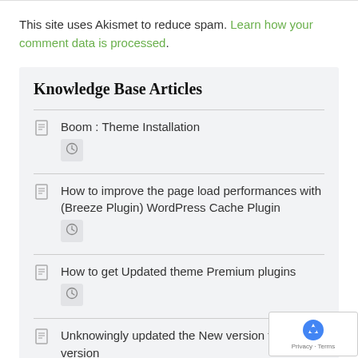This site uses Akismet to reduce spam. Learn how your comment data is processed.
Knowledge Base Articles
Boom : Theme Installation
How to improve the page load performances with (Breeze Plugin) WordPress Cache Plugin
How to get Updated theme Premium plugins
Unknowingly updated the New version to the Old version